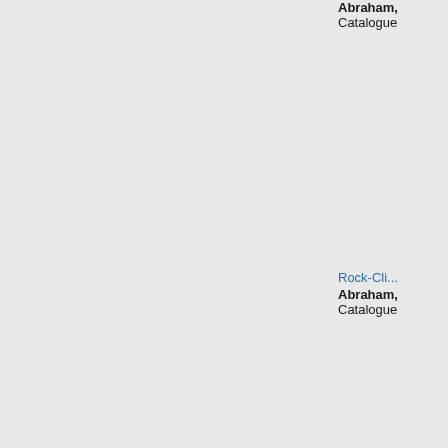Abraham,
Catalogue
Rock-Cli...
Abraham,
Catalogue
Capturing...
Brothers ...
Abraham,
Catalogue
The Surge...
Abraham,
Catalogue